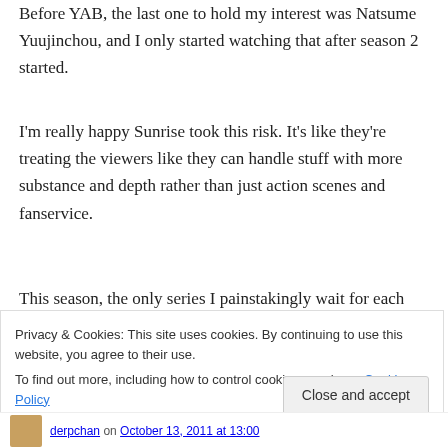Before YAB, the last one to hold my interest was Natsume Yuujinchou, and I only started watching that after season 2 started.
I'm really happy Sunrise took this risk. It's like they're treating the viewers like they can handle stuff with more substance and depth rather than just action scenes and fanservice.
This season, the only series I painstakingly wait for each week is Gintama because it's just awesome.
Privacy & Cookies: This site uses cookies. By continuing to use this website, you agree to their use. To find out more, including how to control cookies, see here: Cookie Policy
Close and accept
derpchan on October 13, 2011 at 13:00